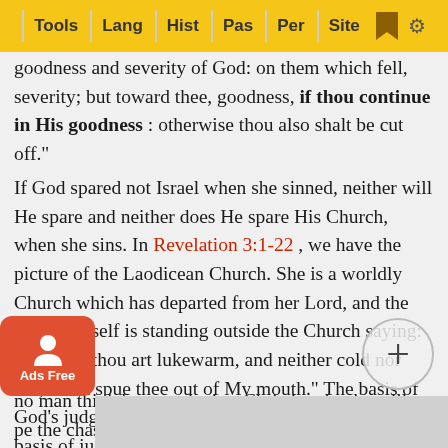Tools | Lang | Hist | Pas | Per | Site
goodness and severity of God: on them which fell, severity; but toward thee, goodness, if thou continue in His goodness : otherwise thou also shalt be cut off."
If God spared not Israel when she sinned, neither will He spare and neither does He spare His Church, when she sins. In Revelation 3:1-22 , we have the picture of the Laodicean Church. She is a worldly Church which has departed from her Lord, and the Lord Himself is standing outside the Church saying: "Because thou art lukewarm, and neither cold nor hot, I will spue thee out of My mouth." The basis of God's judgments, in every age, are the same; and the basis of judgment against both the righteous and the wicked are the same.
...no man think because he is a Christian that he will ...pe the chastening of God if he sins. Not that alone, but we re... k and sickly... se chast... sical